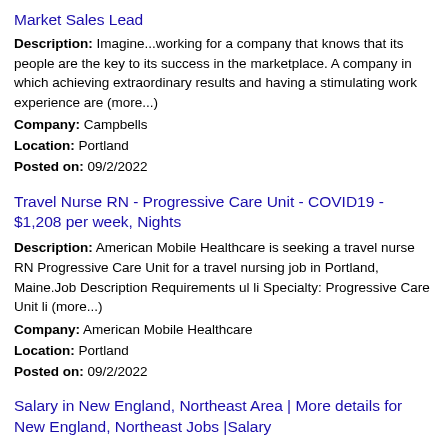Market Sales Lead
Description: Imagine...working for a company that knows that its people are the key to its success in the marketplace. A company in which achieving extraordinary results and having a stimulating work experience are (more...)
Company: Campbells
Location: Portland
Posted on: 09/2/2022
Travel Nurse RN - Progressive Care Unit - COVID19 - $1,208 per week, Nights
Description: American Mobile Healthcare is seeking a travel nurse RN Progressive Care Unit for a travel nursing job in Portland, Maine.Job Description Requirements ul li Specialty: Progressive Care Unit li (more...)
Company: American Mobile Healthcare
Location: Portland
Posted on: 09/2/2022
Salary in New England, Northeast Area | More details for New England, Northeast Jobs |Salary
Travel Nurse RN - ED - Emergency Department - $2,885 per...